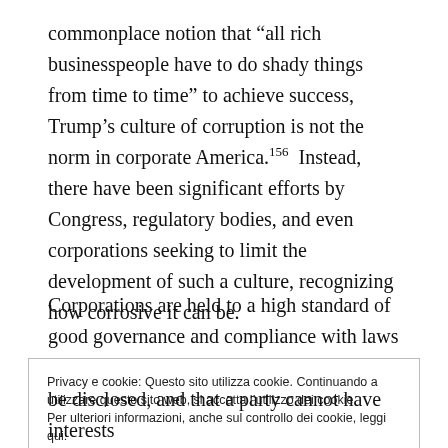commonplace notion that “all rich businesspeople have to do shady things from time to time” to achieve success, Trump’s culture of corruption is not the norm in corporate America.¹⁵⁶ Instead, there have been significant efforts by Congress, regulatory bodies, and even corporations seeking to limit the development of such a culture, recognizing how corrosive it can be.
Corporations are held to a high standard of good governance and compliance with laws and
Privacy e cookie: Questo sito utilizza cookie. Continuando a utilizzare questo sito web, si accetta l’utilizzo dei cookie.
Per ulteriori informazioni, anche sul controllo dei cookie, leggi qui:
Our Cookie Policy
Chiudi e accetta
be disclosed, and that a party cannot have interests